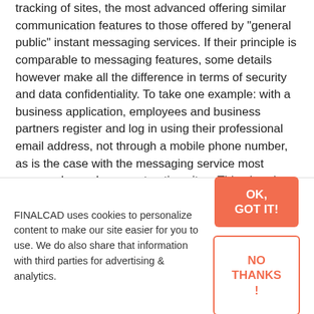tracking of sites, the most advanced offering similar communication features to those offered by "general public" instant messaging services. If their principle is comparable to messaging features, some details however make all the difference in terms of security and data confidentiality. To take one example: with a business application, employees and business partners register and log in using their professional email address, not through a mobile phone number, as is the case with the messaging service most commonly used on construction sites. This already solves many of the above problems for contractors and their employees:
FINALCAD uses cookies to personalize content to make our site easier for you to use. We do also share that information with third parties for advertising & analytics.
OK, GOT IT!
NO THANKS !